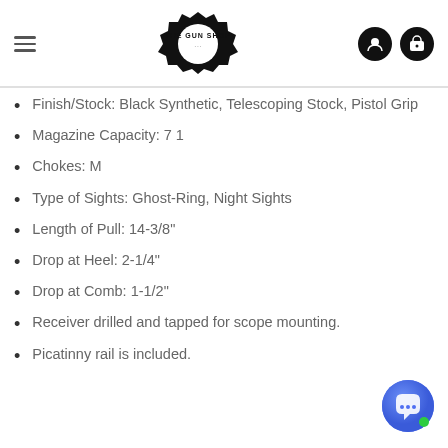THE GUN SHOP
Finish/Stock: Black Synthetic, Telescoping Stock, Pistol Grip
Magazine Capacity: 7 1
Chokes: M
Type of Sights: Ghost-Ring, Night Sights
Length of Pull: 14-3/8"
Drop at Heel: 2-1/4"
Drop at Comb: 1-1/2"
Receiver drilled and tapped for scope mounting.
Picatinny rail is included.